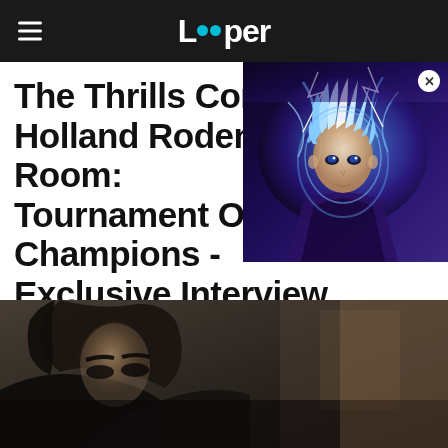Looper
[Figure (illustration): Anime character with blue energy/lightning glow effect, purple and blue tones, partially obscuring article title. Has a close (X) button in top-right corner.]
The Thrills Continue With Holland Roden In Escape Room: Tournament Of Champions - Exclusive Interview
[Figure (photo): Close-up photo of a person, likely Holland Roden, partially visible at bottom of page. Dark, moody tones with blurred background.]